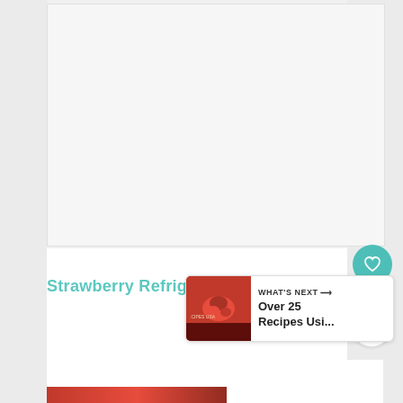[Figure (photo): Large white/light gray rectangular image area — a food photo placeholder for Strawberry Refrigerator Cake]
Strawberry Refrigerator Cake
250
[Figure (screenshot): WHAT'S NEXT → Over 25 Recipes Usi... panel with small thumbnail of red/strawberry dish]
[Figure (photo): Small bottom thumbnail strip showing red colored food photo]